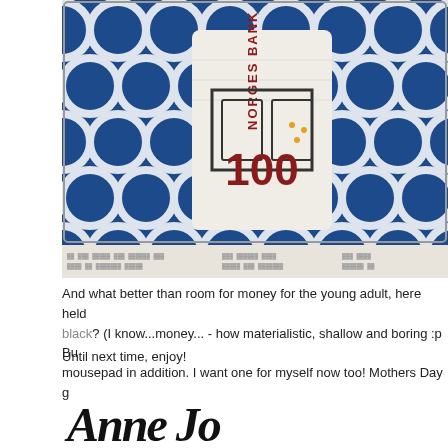[Figure (photo): Overhead view of Norwegian 100 kroner banknotes rolled up in a blue decorative tin with white circle pattern, sitting on a newspaper. The note reads 'NORGES BANK 100'.]
And what better than room for money for the young adult, here held in a tin in blue and black? (I know...money... - how materialistic, shallow and boring :p Bu... mousepad in addition. I want one for myself now too! Mothers Day g...
Until next time, enjoy!
[Figure (illustration): Handwritten cursive signature reading 'Anne Jo']